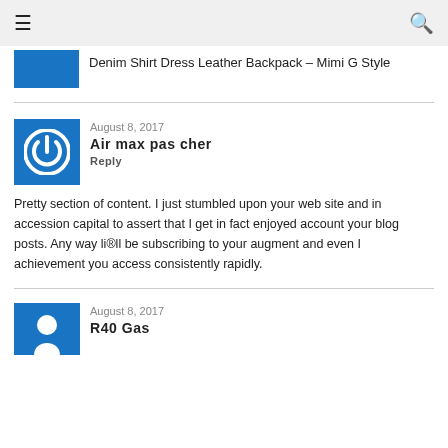≡  🔍
[Figure (photo): Partial blue thumbnail image at top]
Denim Shirt Dress Leather Backpack – Mimi G Style
August 8, 2017
Air max pas cher
Reply
Pretty section of content. I just stumbled upon your web site and in accession capital to assert that I get in fact enjoyed account your blog posts. Any way li®ll be subscribing to your augment and even I achievement you access consistently rapidly.
August 8, 2017
R40 Gas